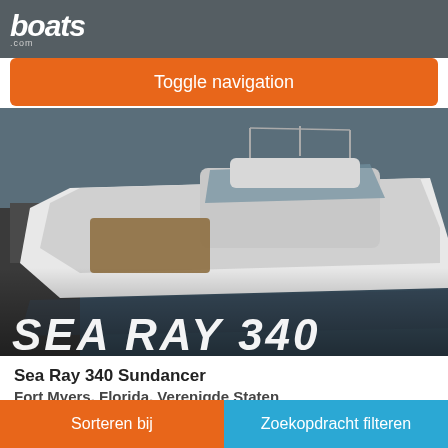boats.com
Toggle navigation
[Figure (photo): Aerial/side view of a white Sea Ray 340 Sundancer motorboat moored at a dock on calm water. Text overlay at bottom reads SEA RAY 340.]
Sea Ray 340 Sundancer
Fort Myers, Florida, Verenigde Staten
1989
€32.983
Verkoper Pop Yachts
Sorteren bij   Zoekopdracht filteren